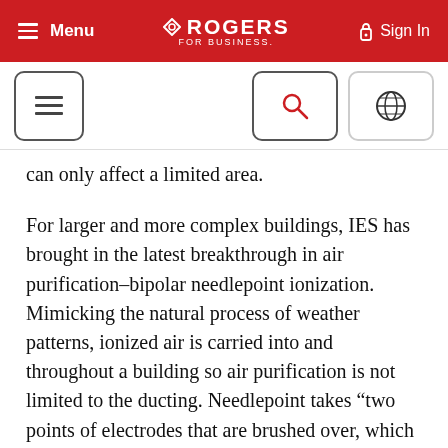Menu | ROGERS FOR BUSINESS. | Sign In
[Figure (screenshot): Navigation bar with hamburger menu icon, search icon button, and globe/language icon button]
can only affect a limited area.
For larger and more complex buildings, IES has brought in the latest breakthrough in air purification–bipolar needlepoint ionization. Mimicking the natural process of weather patterns, ionized air is carried into and throughout a building so air purification is not limited to the ducting. Needlepoint takes “two points of electrodes that are brushed over, which creates a prolific amount of ions,” says Bob. It is a digitized,